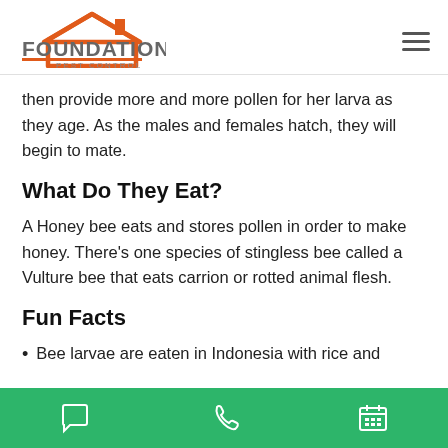Foundation Pest Control
then provide more and more pollen for her larva as they age. As the males and females hatch, they will begin to mate.
What Do They Eat?
A Honey bee eats and stores pollen in order to make honey. There's one species of stingless bee called a Vulture bee that eats carrion or rotted animal flesh.
Fun Facts
Bee larvae are eaten in Indonesia with rice and
Chat | Phone | Calendar